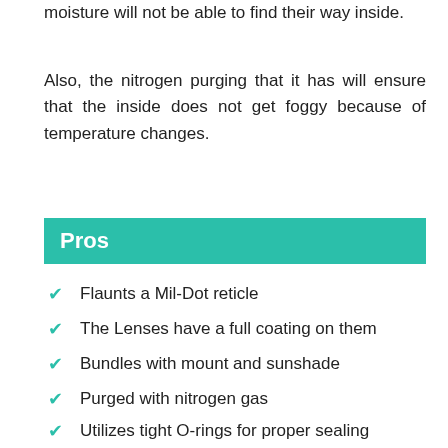moisture will not be able to find their way inside.
Also, the nitrogen purging that it has will ensure that the inside does not get foggy because of temperature changes.
Pros
Flaunts a Mil-Dot reticle
The Lenses have a full coating on them
Bundles with mount and sunshade
Purged with nitrogen gas
Utilizes tight O-rings for proper sealing